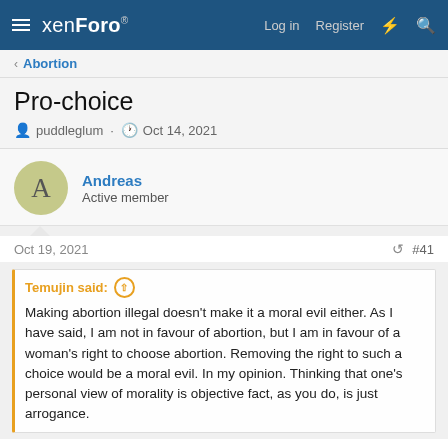xenForo — Log in  Register
< Abortion
Pro-choice
puddleglum · Oct 14, 2021
Andreas
Active member
Oct 19, 2021  #41
Temujin said: ↑
Making abortion illegal doesn't make it a moral evil either. As I have said, I am not in favour of abortion, but I am in favour of a woman's right to choose abortion. Removing the right to such a choice would be a moral evil. In my opinion. Thinking that one's personal view of morality is objective fact, as you do, is just arrogance.
Why do many feel abortion is a moral evil? Simply because it is